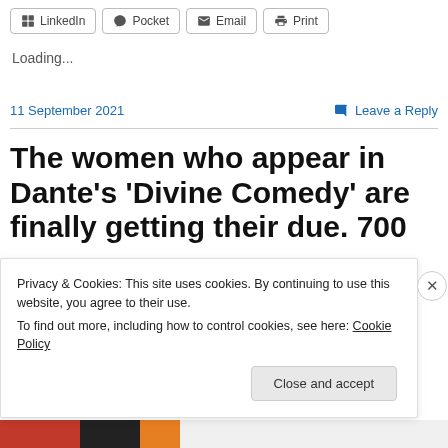[Figure (screenshot): Toolbar with social sharing buttons: LinkedIn, Pocket, Email, Print]
Loading...
11 September 2021
Leave a Reply
The women who appear in Dante's 'Divine Comedy' are finally getting their due. 700
Privacy & Cookies: This site uses cookies. By continuing to use this website, you agree to their use. To find out more, including how to control cookies, see here: Cookie Policy
Close and accept